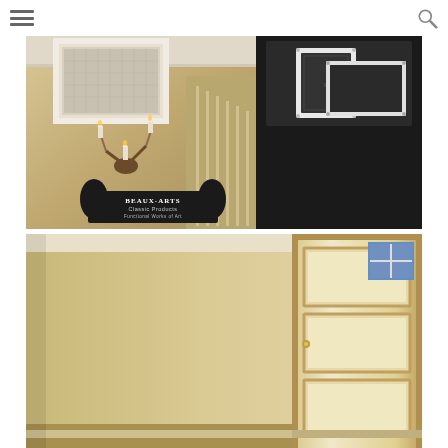Navigation header with hamburger menu and search icon
[Figure (photo): Top composite image showing an interior entryway/staircase with a decorative white filter grille mounted high on the wall, wall sconces with candle lights, a dark right panel showing a black ornate filter grille product image, white bold text reading 'Replace your ugly louvered filter grille with our magnetic quick change filter grille. We have eliminated the door as well as the unsightly hinges and latches and replaced them with the new Neodymium Rare Earth Magnets with 10 pounds of magnetic pull each to hold the door in place.' and the Beaux-Arts Classic Products logo with griffin figures at the bottom left.]
[Figure (photo): Bottom image showing a residential hallway/entryway interior with beige/tan walls and a white paneled door visible on the right side with a small window at the top.]